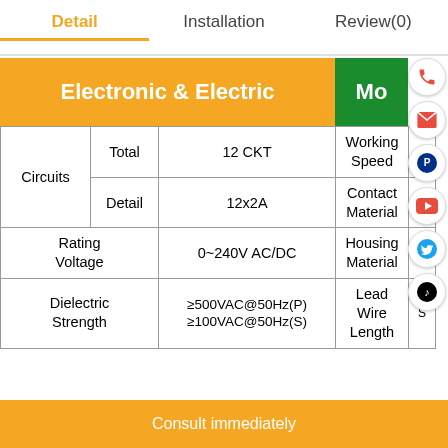Detail | Installation | Review(0)
| Electronic & Electric | Mo... |
| --- | --- |
| Circuits | Total | 12 CKT | Working Speed |  |
| Circuits | Detail | 12x2A | Contact Material |  |
| Rating Voltage |  | 0~240V AC/DC | Housing Material |  |
| Dielectric Strength |  | ≥500VAC@50Hz(P) ≥100VAC@50Hz(S) | Lead Wire Length | S |
Consult immediately